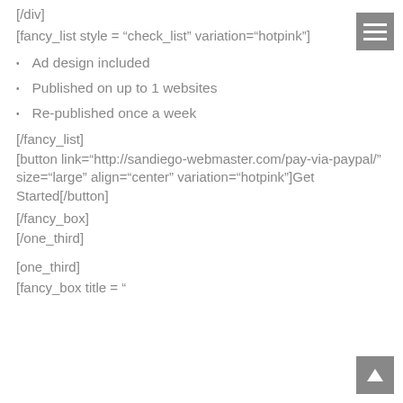[/div]
[fancy_list style = “check_list” variation=”hotpink”]
Ad design included
Published on up to 1 websites
Re-published once a week
[/fancy_list]
[button link=“http://sandiego-webmaster.com/pay-via-paypal/” size=”large” align=”center” variation=”hotpink”]Get Started[/button]
[/fancy_box]
[/one_third]
[one_third]
[fancy_box title = “